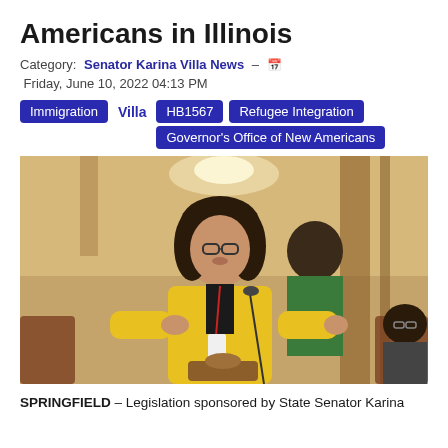Americans in Illinois
Category: Senator Karina Villa News – Friday, June 10, 2022 04:13 PM
Immigration  Villa  HB1567  Refugee Integration  Governor's Office of New Americans
[Figure (photo): State Senator Karina Villa in a yellow blazer speaking at a podium in the Illinois Senate chamber, with other senators visible in the background.]
SPRINGFIELD – Legislation sponsored by State Senator Karina